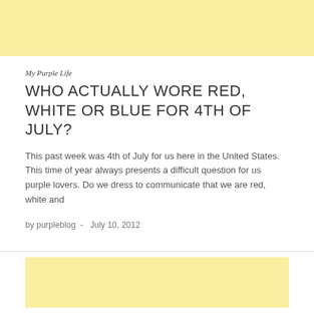[Figure (other): Yellow/cream colored advertisement banner at the top of the page]
My Purple Life
WHO ACTUALLY WORE RED, WHITE OR BLUE FOR 4TH OF JULY?
This past week was 4th of July for us here in the United States. This time of year always presents a difficult question for us purple lovers. Do we dress to communicate that we are red, white and
by purpleblog  -  July 10, 2012
[Figure (other): Yellow/cream colored advertisement banner at the bottom of the page]